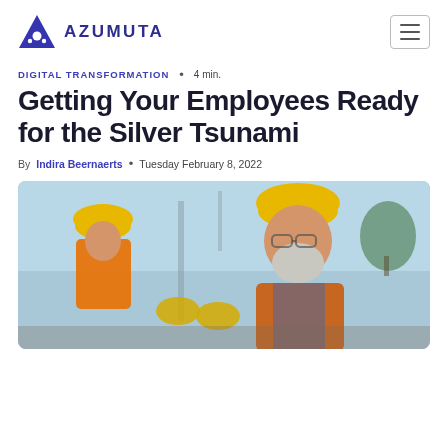AZUMUTA
DIGITAL TRANSFORMATION • 4 min.
Getting Your Employees Ready for the Silver Tsunami
By Indira Beernaerts • Tuesday February 8, 2022
[Figure (photo): Two older male construction workers wearing yellow hard hats and orange vests, appearing to shake hands or interact on a construction site.]